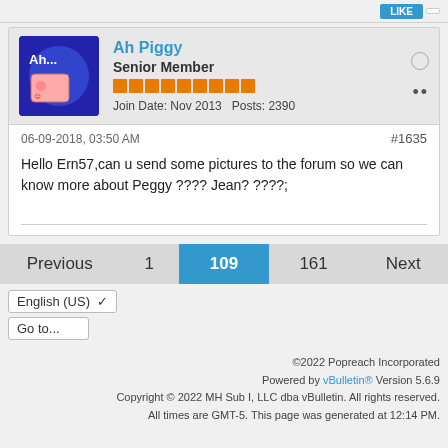[Figure (screenshot): Forum post top bar with blue button]
Ah Piggy
Senior Member
Join Date: Nov 2013  Posts: 2390
06-09-2018, 03:50 AM
#1635
Hello Ern57,can u send some pictures to the forum so we can know more about Peggy ???? Jean? ????;
Previous  1  109  161  Next
English (US) ▼
Go to...  ▼
©2022 Popreach Incorporated
Powered by vBulletin® Version 5.6.9
Copyright © 2022 MH Sub I, LLC dba vBulletin. All rights reserved.
All times are GMT-5. This page was generated at 12:14 PM.